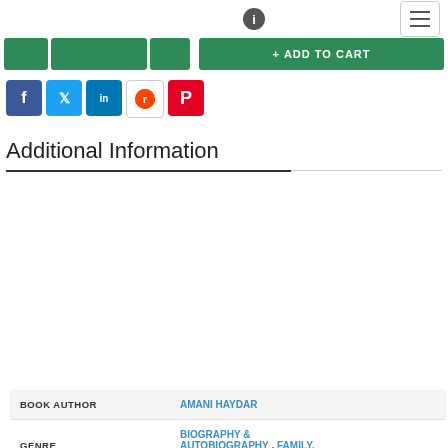[Figure (screenshot): Top navigation bar with info icon and hamburger menu button]
[Figure (screenshot): Green add-to-cart button bar with smaller green buttons]
[Figure (screenshot): Social sharing icons: Facebook, Twitter, LinkedIn, Reddit, Pinterest]
Additional Information
|  |  |
| --- | --- |
| BOOK AUTHOR | AMANI HAYDAR |
| GENRE | BIOGRAPHY & AUTOBIOGRAPHY , FAMILY, HEALTH & FITNESS |
| BINDING | PERFECT BINDING (PAPERBACK) |
| FORMAT | LARGE PRINT 16 PT EDITION (STANDARD LARGE PRINT) |
| ISBN | 9780369367709 |